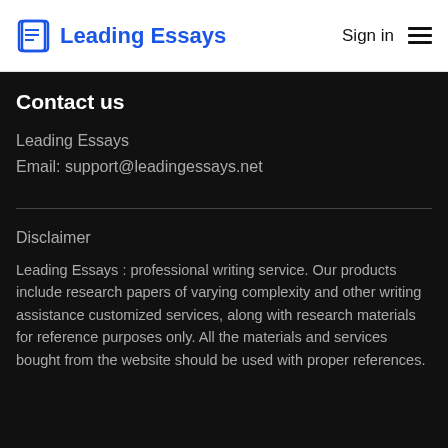Leading Essays | Sign in
Contact us
Leading Essays
Email: support@leadingessays.net
Disclaimer
Leading Essays : professional writing service. Our products include research papers of varying complexity and other writing assistance customized services, along with research materials for reference purposes only. All the materials and services bought from the website should be used with proper references.